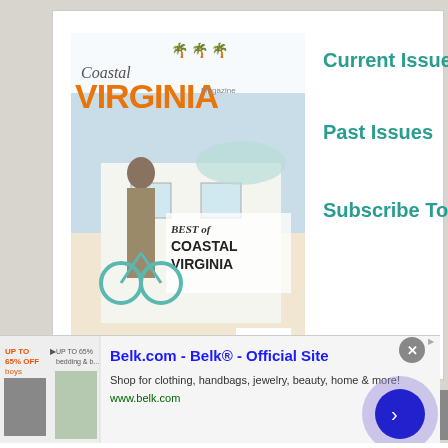[Figure (illustration): Coastal Virginia Magazine cover showing woman with bicycle, 'Best of Coastal Virginia' text overlay, with teal palm tree icons at top]
Current Issue
Past Issues
Subscribe Today!
Popular Articles
[Figure (screenshot): Belk.com advertisement banner with text 'Belk.com - Belk® - Official Site', 'Shop for clothing, handbags, jewelry, beauty, home & more!', 'www.belk.com', with product images, close button, and forward arrow button]